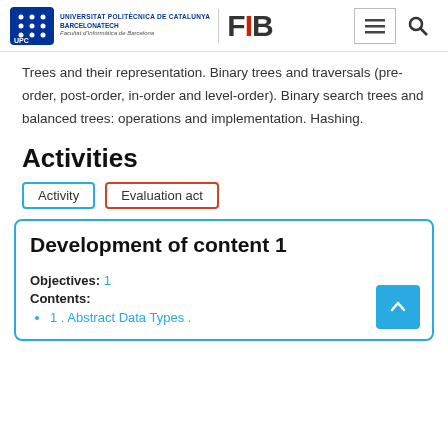Universitat Politècnica de Catalunya BarcelonaTech — Facultat d'Informàtica de Barcelona | FIB
Trees and their representation. Binary trees and traversals (pre-order, post-order, in-order and level-order). Binary search trees and balanced trees: operations and implementation. Hashing.
Activities
Activity | Evaluation act
Development of content 1
Objectives: 1
Contents:
1 . Abstract Data Types .